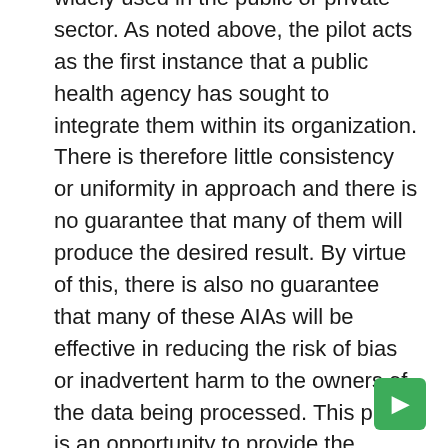widely used in the public or private sector. As noted above, the pilot acts as the first instance that a public health agency has sought to integrate them within its organization. There is therefore little consistency or uniformity in approach and there is no guarantee that many of them will produce the desired result. By virtue of this, there is also no guarantee that many of these AIAs will be effective in reducing the risk of bias or inadvertent harm to the owners of the data being processed. This pilot is an opportunity to provide the framework created by the Institute with a sandbox for rigorous testing and feedback, which can then be used to modify their main proposal in the future.